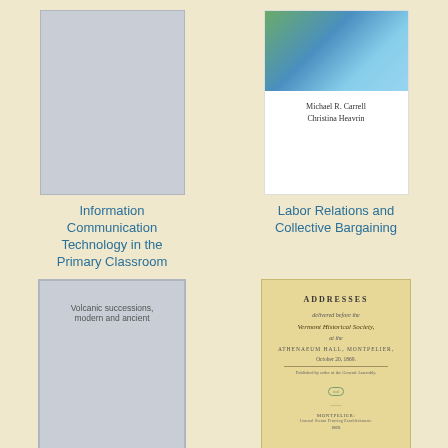[Figure (illustration): Book cover placeholder for Information Communication Technology in the Primary Classroom - gray cover]
[Figure (illustration): Book cover for Labor Relations and Collective Bargaining - white cover with blue/green image at top, authors Michael R. Carrell and Christina Heavrin]
Information Communication Technology in the Primary Classroom
Labor Relations and Collective Bargaining
[Figure (illustration): Book cover placeholder for Volcanic successions, modern and ancient - gray cover with text]
[Figure (illustration): Historical book cover - Addresses delivered before the Vermont Historical Society, at the Athenaeum Hall, Montpelier]
Volcanic successions, modern and ancient
Addresses delivered before the Vermont